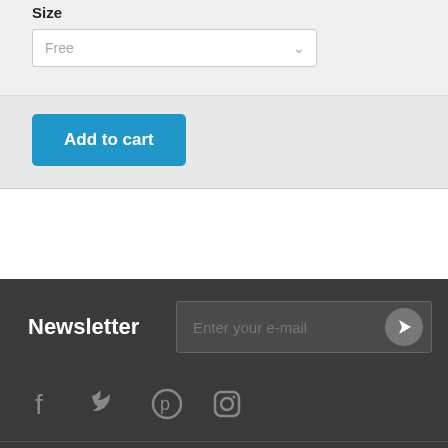Size
[Figure (screenshot): Dropdown select box with placeholder text 'Free' and a chevron arrow icon]
[Figure (screenshot): Blue 'Add to cart' button]
Newsletter
[Figure (screenshot): Email input field with placeholder 'Enter your e-mail' and a grey circular submit arrow button]
[Figure (infographic): Social media icons: Facebook, Twitter, Pinterest, Instagram]
Information
[Figure (screenshot): White circular plus (+) button on the right side of the Information row]